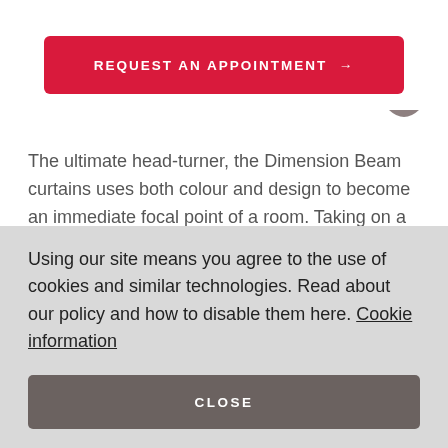REQUEST AN APPOINTMENT →
The ultimate head-turner, the Dimension Beam curtains uses both colour and design to become an immediate focal point of a room. Taking on a shimmering gold background, which adds instant prestige, the curtain adopts a quirky geometric repeated pattern. The result is a high-energy take on a room, with the effect amplified in those settings which are using floor to ceiling curtains to the most striking of effects. The gold will flirt towards tones
Using our site means you agree to the use of cookies and similar technologies. Read about our policy and how to disable them here. Cookie information
CLOSE